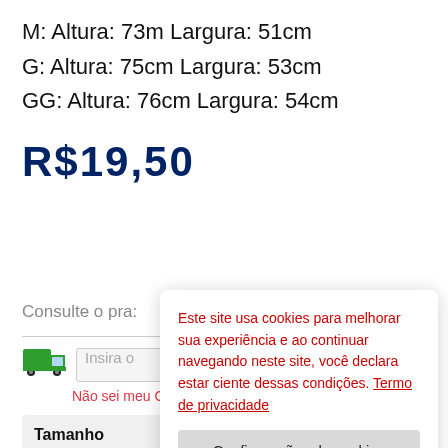M: Altura: 73m Largura: 51cm
G: Altura: 75cm Largura: 53cm
GG: Altura: 76cm Largura: 54cm
R$19,50
Consulte o pra:
[Figure (other): Green delivery truck icon]
Insira o
Não sei meu CE
Tamanho
Este site usa cookies para melhorar sua experiência e ao continuar navegando neste site, você declara estar ciente dessas condições. Termo de privacidade
Configurações de cookies
Aceitar tudo